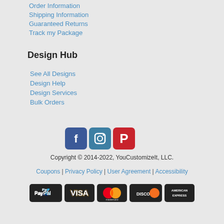Order Information
Shipping Information
Guaranteed Returns
Track my Package
Design Hub
See All Designs
Design Help
Design Services
Bulk Orders
[Figure (illustration): Social media icons: Facebook (blue), Instagram (teal/blue), Pinterest (red)]
Copyright © 2014-2022, YouCustomizeIt, LLC.
Coupons | Privacy Policy | User Agreement | Accessibility
[Figure (illustration): Payment method badges: PayPal, Visa, Mastercard, Discover, American Express]